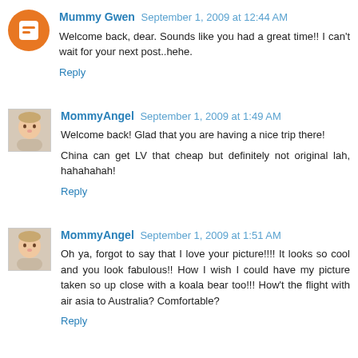Mummy Gwen September 1, 2009 at 12:44 AM
Welcome back, dear. Sounds like you had a great time!! I can't wait for your next post..hehe.
Reply
MommyAngel September 1, 2009 at 1:49 AM
Welcome back! Glad that you are having a nice trip there!
China can get LV that cheap but definitely not original lah, hahahahah!
Reply
MommyAngel September 1, 2009 at 1:51 AM
Oh ya, forgot to say that I love your picture!!!! It looks so cool and you look fabulous!! How I wish I could have my picture taken so up close with a koala bear too!!! How't the flight with air asia to Australia? Comfortable?
Reply